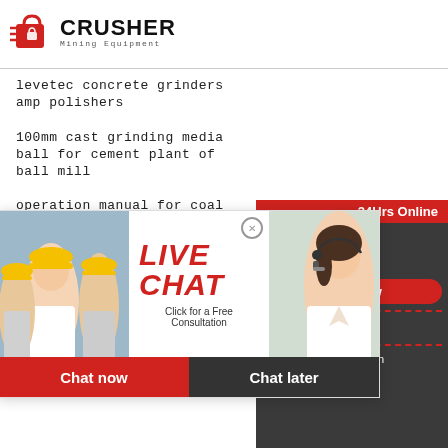[Figure (logo): Crusher Mining Equipment logo with red shopping bag icon and bold CRUSHER text]
levetec concrete grinders amp polishers
100mm cast grinding media ball for cement plant of ball mill
operation manual for coal mill
sujata mi er g...
portable mob...
high quality m...
[Figure (screenshot): Live chat popup overlay with workers background image on left, LIVE CHAT title in red italic text, Click for a Free Consultation subtitle, close button, woman with headset on right, Chat now (red) and Chat later (dark) buttons at bottom]
[Figure (infographic): Side panel with 24Hrs Online bar, Need questions & suggestion text, Chat Now red oval button, dashed divider, Enquiry section, dashed divider, limingjlmofen@sina.com email]